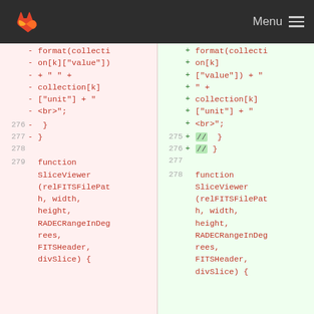Menu
[Figure (screenshot): A code diff view showing two versions of JavaScript code side by side. Left (old) side has pink background with removed lines, right (new) side has green background with added lines. Lines show format(collection[k]['value']) + ' ' + collection[k]['unit'] + '<br>'; followed by closing braces for lines 276-277 on left and 275-276 on right, then blank lines 278/277, then function SliceViewer(relFITSFilePath, width, height, RADECRangeInDegrees, FITSHeader, divSlice) { starting at lines 279/278.]